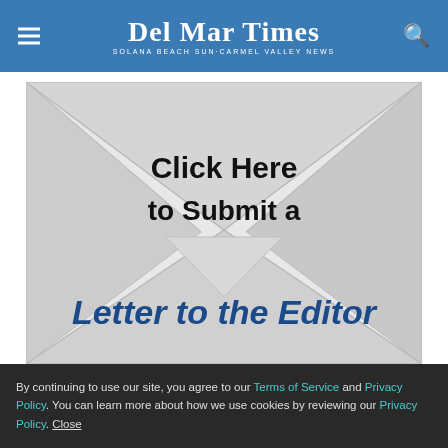Del Mar Times — Solana Beach Sun·Carmel Valley News
[Figure (illustration): An envelope graphic with text 'Click Here to Submit a Letter to the Editor'. The envelope is shown open/closed with diagonal fold lines, light gray/white background. The words 'Click Here to Submit a' appear in bold black text near the top center, and 'Letter to the Editor' appears in large bold blue italic text at the bottom of the envelope.]
By continuing to use our site, you agree to our Terms of Service and Privacy Policy. You can learn more about how we use cookies by reviewing our Privacy Policy. Close